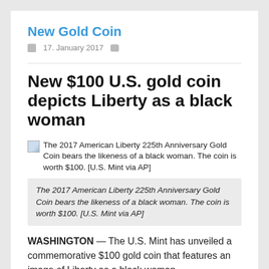New Gold Coin
17. January 2017
New $100 U.S. gold coin depicts Liberty as a black woman
[Figure (photo): Broken image placeholder with alt text: The 2017 American Liberty 225th Anniversary Gold Coin bears the likeness of a black woman. The coin is worth $100. [U.S. Mint via AP]]
The 2017 American Liberty 225th Anniversary Gold Coin bears the likeness of a black woman. The coin is worth $100. [U.S. Mint via AP]
WASHINGTON — The U.S. Mint has unveiled a commemorative $100 gold coin that features an image of Liberty as a black woman.
The 2017 American Liberty 225th Anniversary Gold Coin